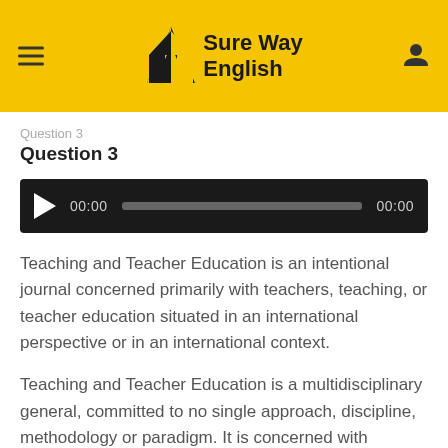Sure Way English
Question 3
[Figure (other): Audio player widget showing play button, 00:00 current time, progress bar, and 00:00 total time on dark background]
Teaching and Teacher Education is an intentional journal concerned primarily with teachers, teaching, or teacher education situated in an international perspective or in an international context.
Teaching and Teacher Education is a multidisciplinary general, committed to no single approach, discipline, methodology or paradigm. It is concerned with teaching and teacher education in general and devoted to all concerned with